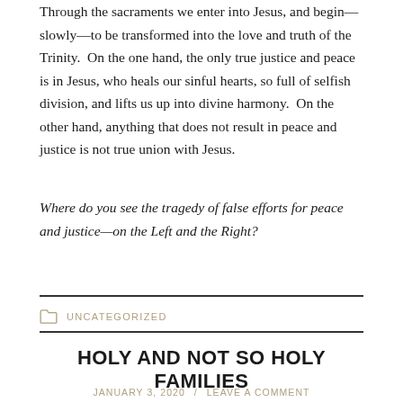Through the sacraments we enter into Jesus, and begin—slowly—to be transformed into the love and truth of the Trinity. On the one hand, the only true justice and peace is in Jesus, who heals our sinful hearts, so full of selfish division, and lifts us up into divine harmony. On the other hand, anything that does not result in peace and justice is not true union with Jesus.
Where do you see the tragedy of false efforts for peace and justice—on the Left and the Right?
UNCATEGORIZED
HOLY AND NOT SO HOLY FAMILIES
JANUARY 3, 2020 / LEAVE A COMMENT